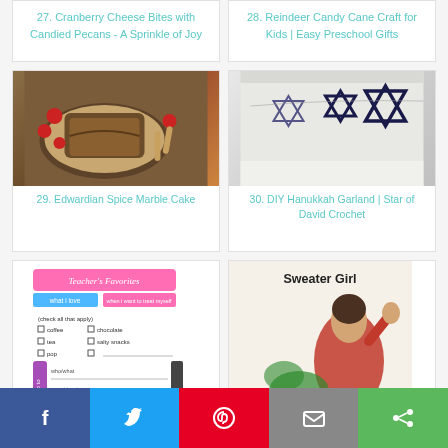27. Cranberry Cheese Bites with Candied Pecans - A Sprinkle of Joy
28. Reindeer Candy Cane Craft for Kids | Easy Preschool Gifts
[Figure (photo): Photo of Edwardian spice marble cake slices on a blue and white plate with cranberries and cinnamon sticks]
[Figure (photo): Photo of DIY Hanukkah garland with Star of David crochet shapes hanging on a white mantel]
29. Edwardian Spice Marble Cake
30. DIY Hanukkah Garland | Star of David Crochet
[Figure (photo): Teacher's Favorites printable form with checkboxes for coffee, chocolate, tea, salty snacks, pop, and go-to fields]
[Figure (photo): Vintage Sweater Girl illustration of a woman in a red sweater with text '+ 25 Free']
Share buttons: Facebook, Twitter, Pinterest, Email, Share